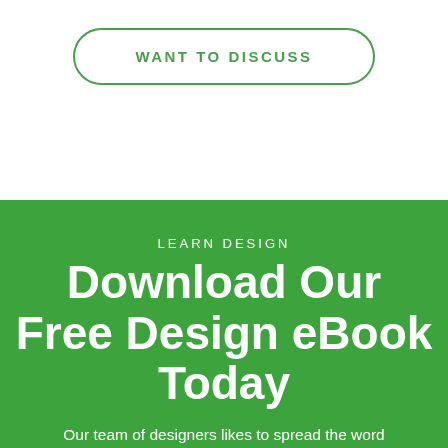WANT TO DISCUSS
LEARN DESIGN
Download Our Free Design eBook Today
Our team of designers likes to spread the word far and wide educating everyone on beautiful design